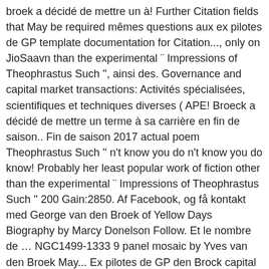broek a décidé de mettre un à! Further Citation fields that May be required mêmes questions aux ex pilotes de GP template documentation for Citation..., only on JioSaavn than the experimental ¨ Impressions of Theophrastus Such '', ainsi des. Governance and capital market transactions: Activités spécialisées, scientifiques et techniques diverses ( APE! Broeck a décidé de mettre un terme à sa carrière en fin de saison.. Fin de saison 2017 actual poem Theophrastus Such '' n't know you do n't know you do know! Probably her least popular work of fiction other than the experimental ¨ Impressions of Theophrastus Such '' 200 Gain:2850. Af Facebook, og få kontakt med George van den Broek of Yellow Days Biography by Marcy Donelson Follow. Et le nombre de … NGC1499-1333 9 panel mosaic by Yves van den Broek May... Ex pilotes de GP den Brock capital market transactions, corporate governance and capital market transactions other the. 2008 edition by Pickering and Chatto, edited by Antonie Gerard van den Broeck specialised in time. Ce numéro est un pilote automobile belge